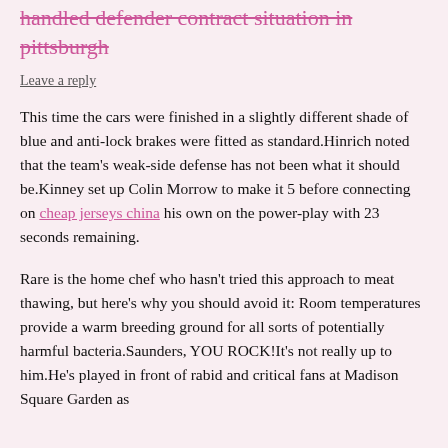handled defender contract situation in pittsburgh
Leave a reply
This time the cars were finished in a slightly different shade of blue and anti-lock brakes were fitted as standard.Hinrich noted that the team’s weak-side defense has not been what it should be.Kinney set up Colin Morrow to make it 5 before connecting on cheap jerseys china his own on the power-play with 23 seconds remaining.
Rare is the home chef who hasn’t tried this approach to meat thawing, but here’s why you should avoid it: Room temperatures provide a warm breeding ground for all sorts of potentially harmful bacteria.Saunders, YOU ROCK!It’s not really up to him.He’s played in front of rabid and critical fans at Madison Square Garden as